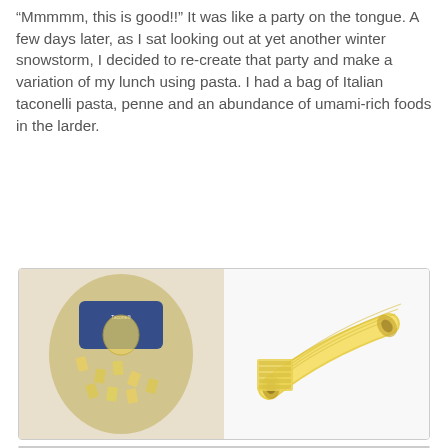"Mmmmm, this is good!!" It was like a party on the tongue. A few days later, as I sat looking out at yet another winter snowstorm, I decided to re-create that party and make a variation of my lunch using pasta. I had a bag of Italian taconelli pasta, penne and an abundance of umami-rich foods in the larder.
[Figure (photo): A composite image: on the left, a bag of Italian taconelli pasta with blue label; on the right, a piece of ridged tubular pasta (taconelli/penne style) shown close-up against white background.]
[Figure (photo): A composite image: on the left, a single red cherry tomato with green stem/leaves against white background; on the right, a cherry tomato with green asparagus spear and pink/purple red onion rings against white background.]